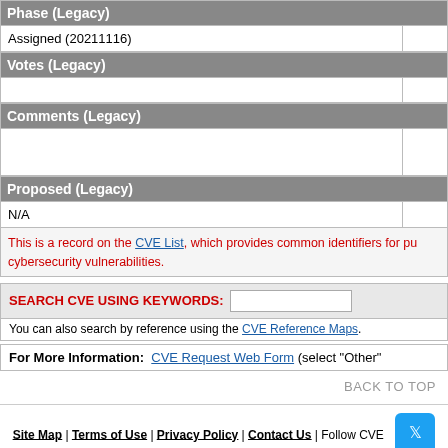| Phase (Legacy) |
| --- |
| Assigned (20211116) |
| Votes (Legacy) |
| --- |
|  |
| Comments (Legacy) |
| --- |
|  |
| Proposed (Legacy) |
| --- |
| N/A |
This is a record on the CVE List, which provides common identifiers for publicly known cybersecurity vulnerabilities.
SEARCH CVE USING KEYWORDS:
You can also search by reference using the CVE Reference Maps.
For More Information: CVE Request Web Form (select "Other"
BACK TO TOP
Site Map | Terms of Use | Privacy Policy | Contact Us | Follow CVE
Use of the CVE® List and the associated references from this website are subject to the terms of use. CVE is sponsored by the U.S. Department of Homeland